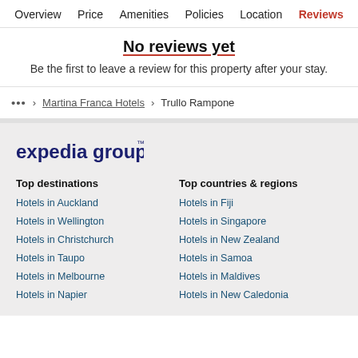Overview  Price  Amenities  Policies  Location  Reviews
No reviews yet
Be the first to leave a review for this property after your stay.
... > Martina Franca Hotels > Trullo Rampone
[Figure (logo): Expedia group logo in dark navy blue text]
Top destinations
Top countries & regions
Hotels in Auckland
Hotels in Fiji
Hotels in Wellington
Hotels in Singapore
Hotels in Christchurch
Hotels in New Zealand
Hotels in Taupo
Hotels in Samoa
Hotels in Melbourne
Hotels in Maldives
Hotels in Napier
Hotels in New Caledonia